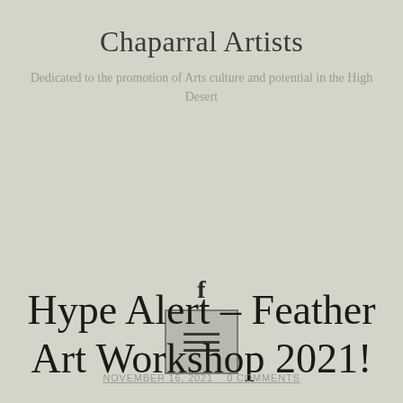Chaparral Artists
Dedicated to the promotion of Arts culture and potential in the High Desert
[Figure (other): Facebook icon (letter f) and hamburger menu button]
Hype Alert – Feather Art Workshop 2021!
NOVEMBER 16, 2021   0 COMMENTS